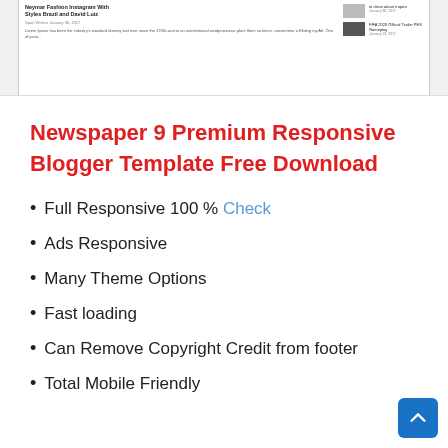[Figure (screenshot): Screenshot of a blog/news website template showing article cards with thumbnails and Lorem Ipsum text]
Newspaper 9 Premium Responsive Blogger Template Free Download
Full Responsive 100 % Check
Ads Responsive
Many Theme Options
Fast loading
Can Remove Copyright Credit from footer
Total Mobile Friendly